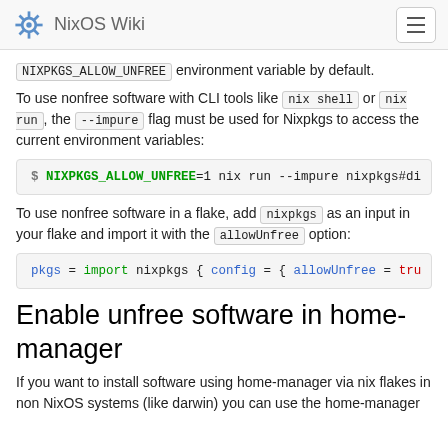NixOS Wiki
NIXPKGS_ALLOW_UNFREE environment variable by default.
To use nonfree software with CLI tools like nix shell or nix run, the --impure flag must be used for Nixpkgs to access the current environment variables:
$ NIXPKGS_ALLOW_UNFREE=1 nix run --impure nixpkgs#di
To use nonfree software in a flake, add nixpkgs as an input in your flake and import it with the allowUnfree option:
pkgs = import nixpkgs { config = { allowUnfree = tru
Enable unfree software in home-manager
If you want to install software using home-manager via nix flakes in non NixOS systems (like darwin) you can use the home-manager